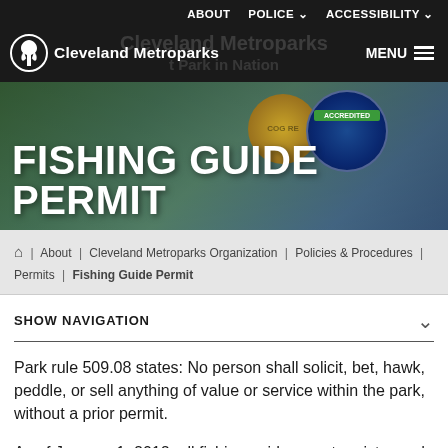ABOUT  POLICE ∨  ACCESSIBILITY ∨
[Figure (logo): Cleveland Metroparks logo with leaf/person icon and text 'Cleveland Metroparks']
[Figure (photo): Hero banner with text 'FISHING GUIDE PERMIT' overlaid on nature/waterfall background with accreditation badges]
About | Cleveland Metroparks Organization | Policies & Procedures | Permits | Fishing Guide Permit
SHOW NAVIGATION
Park rule 509.08 states: No person shall solicit, bet, hawk, peddle, or sell anything of value or service within the park, without a prior permit.
As of January 1, 2012, all fishing guides must register and obtain a permit from the Park District prior to